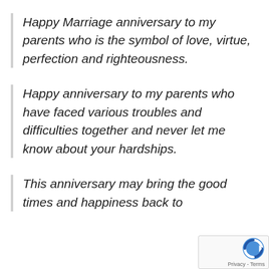Happy Marriage anniversary to my parents who is the symbol of love, virtue, perfection and righteousness.
Happy anniversary to my parents who have faced various troubles and difficulties together and never let me know about your hardships.
This anniversary may bring the good times and happiness back to
[Figure (logo): reCAPTCHA logo with Privacy - Terms text overlay in bottom right corner]